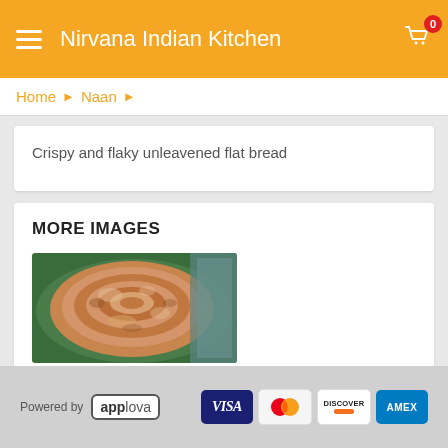Nirvana Indian Kitchen
Home › Naan ›
Crispy and flaky unleavened flat bread
MORE IMAGES
[Figure (photo): Photo of flaky unleavened Indian flat bread (paratha/naan) on a plate]
Powered by Applova — VISA, Mastercard, Discover, AMEX